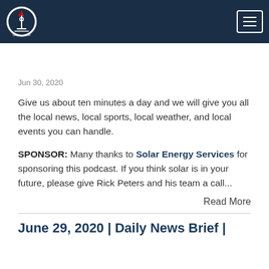Annapolis Daily News Brief navigation bar
Jun 30, 2020
Give us about ten minutes a day and we will give you all the local news, local sports, local weather, and local events you can handle.
SPONSOR: Many thanks to Solar Energy Services for sponsoring this podcast. If you think solar is in your future, please give Rick Peters and his team a call...
Read More
June 29, 2020 | Daily News Brief |